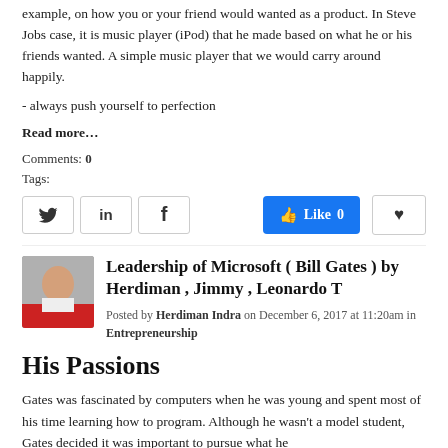example, on how you or your friend would wanted as a product. In Steve Jobs case, it is music player (iPod) that he made based on what he or his friends wanted. A simple music player that we would carry around happily.
- always push yourself to perfection
Read more…
Comments: 0
Tags:
[Figure (infographic): Social sharing buttons: Twitter, LinkedIn, Facebook, Like 0 (Facebook blue), and a heart/favorite button]
Leadership of Microsoft ( Bill Gates ) by Herdiman , Jimmy , Leonardo T
Posted by Herdiman Indra on December 6, 2017 at 11:20am in Entrepreneurship
His Passions
Gates was fascinated by computers when he was young and spent most of his time learning how to program. Although he wasn't a model student, Gates decided it was important to pursue what he